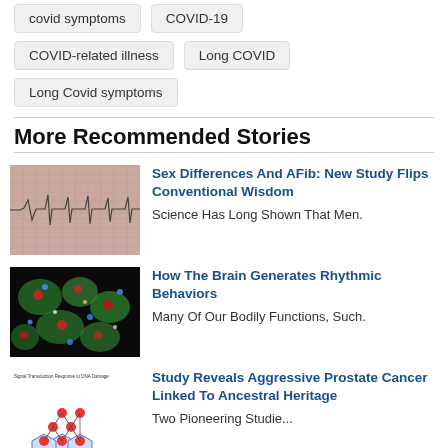covid symptoms
COVID-19
COVID-related illness
Long COVID
Long Covid symptoms
More Recommended Stories
[Figure (photo): ECG/EKG strip on pink grid paper]
Sex Differences And AFib: New Study Flips Conventional Wisdom
Science Has Long Shown That Men.
[Figure (photo): Fluorescence microscopy image of brain cells with green, red, blue staining]
How The Brain Generates Rhythmic Behaviors
Many Of Our Bodily Functions, Such.
[Figure (illustration): Scientific diagram showing DNA damage response signaling pathway with molecular network]
Study Reveals Aggressive Prostate Cancer Linked To Ancestral Heritage
Two Pioneering Studie...